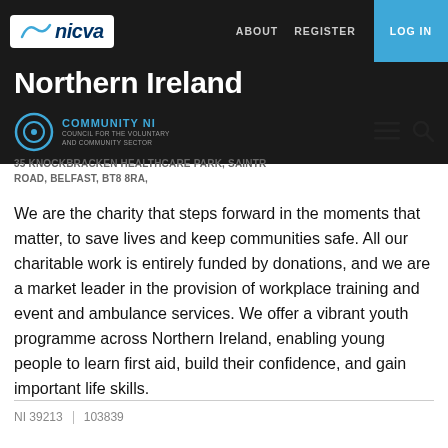nicva | ABOUT  REGISTER  LOG IN
Northern Ireland
COMMUNITY NI
35 KNOCKBRACKEN HEALTHCARE PARK, SAINTR ROAD, BELFAST, BT8 8RA,
We are the charity that steps forward in the moments that matter, to save lives and keep communities safe. All our charitable work is entirely funded by donations, and we are a market leader in the provision of workplace training and event and ambulance services. We offer a vibrant youth programme across Northern Ireland, enabling young people to learn first aid, build their confidence, and gain important life skills.
NI 39213  |  103839